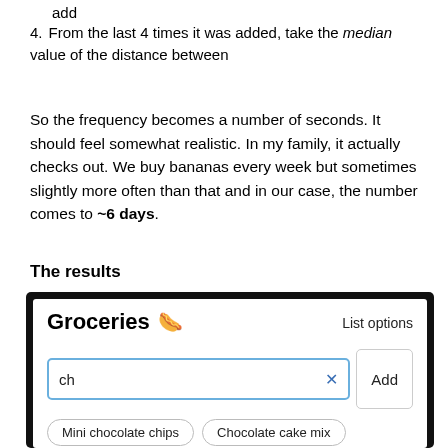add
4. From the last 4 times it was added, take the median value of the distance between
So the frequency becomes a number of seconds. It should feel somewhat realistic. In my family, it actually checks out. We buy bananas every week but sometimes slightly more often than that and in our case, the number comes to ~6 days.
The results
[Figure (screenshot): Screenshot of a Groceries app interface showing a bold title 'Groceries' with a hot dog emoji, a 'List options' link, a search input containing 'ch' with a blue X button and an 'Add' button, and suggestion chips: 'Mini chocolate chips', 'Chocolate cake mix', 'Goat cheese', 'Chips']